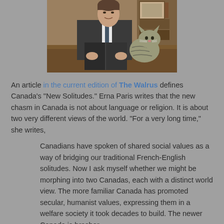[Figure (photo): A man in a suit sitting at a desk holding an open book, with a tabby cat beside him, in a wood-panelled room with bookshelves in the background.]
An article in the current edition of The Walrus defines Canada's "New Solitudes." Erna Paris writes that the new chasm in Canada is not about language or religion. It is about two very different views of the world. "For a very long time," she writes,
Canadians have spoken of shared social values as a way of bridging our traditional French-English solitudes. Now I ask myself whether we might be morphing into two Canadas, each with a distinct world view. The more familiar Canada has promoted secular, humanist values, expressing them in a welfare society it took decades to build. The newer Canada is brasher,